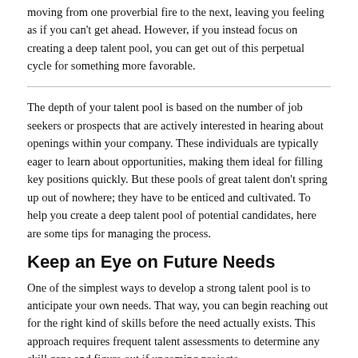moving from one proverbial fire to the next, leaving you feeling as if you can't get ahead. However, if you instead focus on creating a deep talent pool, you can get out of this perpetual cycle for something more favorable.
The depth of your talent pool is based on the number of job seekers or prospects that are actively interested in hearing about openings within your company. These individuals are typically eager to learn about opportunities, making them ideal for filling key positions quickly. But these pools of great talent don't spring up out of nowhere; they have to be enticed and cultivated. To help you create a deep talent pool of potential candidates, here are some tips for managing the process.
Keep an Eye on Future Needs
One of the simplest ways to develop a strong talent pool is to anticipate your own needs. That way, you can begin reaching out for the right kind of skills before the need actually exists. This approach requires frequent talent assessments to determine any skill gaps and figure out if upcoming projects